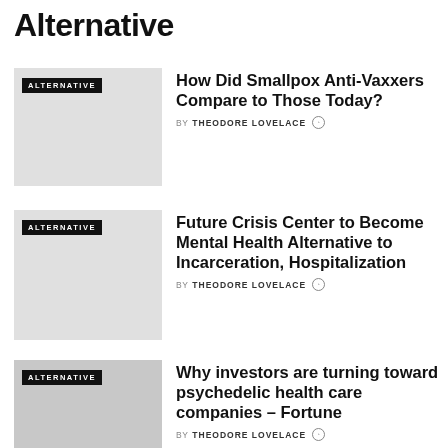Alternative
[Figure (photo): Grayscale thumbnail image for first article with ALTERNATIVE badge]
How Did Smallpox Anti-Vaxxers Compare to Those Today?
BY THEODORE LOVELACE
[Figure (photo): Grayscale thumbnail image for second article with ALTERNATIVE badge]
Future Crisis Center to Become Mental Health Alternative to Incarceration, Hospitalization
BY THEODORE LOVELACE
[Figure (photo): Grayscale thumbnail image for third article with ALTERNATIVE badge]
Why investors are turning toward psychedelic health care companies – Fortune
BY THEODORE LOVELACE